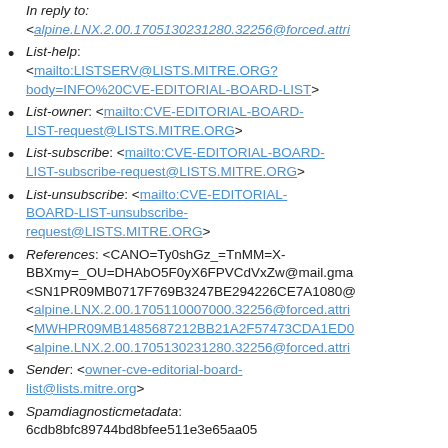In reply to: <alpine.LNX.2.00.1705130231280.32256@forced.attri...>
List-help: <mailto:LISTSERV@LISTS.MITRE.ORG?body=INFO%20CVE-EDITORIAL-BOARD-LIST>
List-owner: <mailto:CVE-EDITORIAL-BOARD-LIST-request@LISTS.MITRE.ORG>
List-subscribe: <mailto:CVE-EDITORIAL-BOARD-LIST-subscribe-request@LISTS.MITRE.ORG>
List-unsubscribe: <mailto:CVE-EDITORIAL-BOARD-LIST-unsubscribe-request@LISTS.MITRE.ORG>
References: <CANO=Ty0shGz_=TnMM=X-BBXmy=_OU=DHAbO5F0yX6FPVCdVxZw@mail.gma... <SN1PR09MB0717F769B3247BE294226CE7A1080@... <alpine.LNX.2.00.1705110007000.32256@forced.attri... <MWHPR09MB1485687212BB21A2F57473CDA1ED0... <alpine.LNX.2.00.1705130231280.32256@forced.attri...
Sender: <owner-cve-editorial-board-list@lists.mitre.org>
Spamdiagnosticmetadata: 6cdb8bfc89744bd8bfee511e3e65aa05
Spamdiagnosticoutput: 1:2